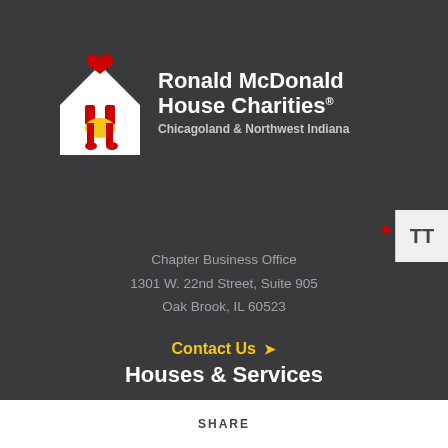[Figure (logo): Ronald McDonald House Charities logo: white house shape with Ronald McDonald figure holding hands, red heart above]
Ronald McDonald House Charities® Chicagoland & Northwest Indiana
Chapter Business Office
1301 W. 22nd Street, Suite 905
Oak Brook, IL 60523
Contact Us →
Houses & Services
Ronald McDonald Houses
SHARE